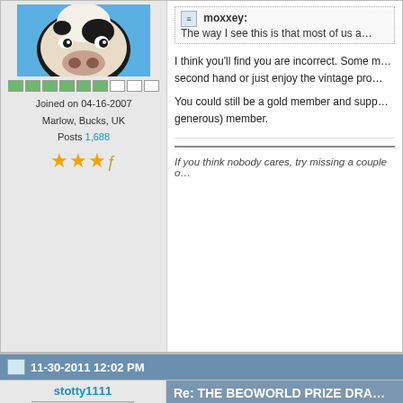[Figure (photo): Avatar image of a cow face close-up on blue background]
Joined on 04-16-2007
Marlow, Bucks, UK
Posts 1,688
moxxey: The way I see this is that most of us a...
I think you'll find you are incorrect. Some m... second hand or just enjoy the vintage pro...
You could still be a gold member and supp... generous) member.
If you think nobody cares, try missing a couple o...
11-30-2011 12:02 PM
stotty1111
Re: THE BEOWORLD PRIZE DRA...
Go for it Lee - I can live with your decisio...